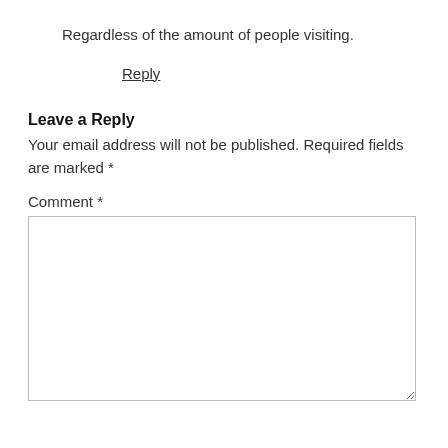Regardless of the amount of people visiting.
Reply
Leave a Reply
Your email address will not be published. Required fields are marked *
Comment *
[Figure (other): Empty comment text area input box]